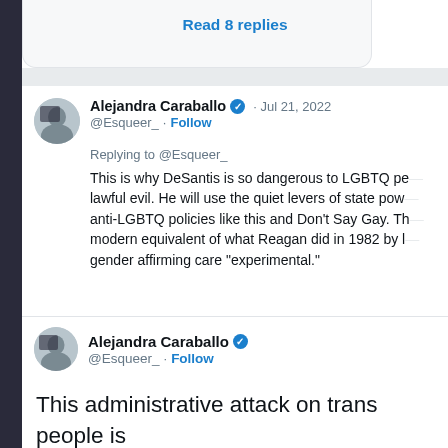Read 8 replies
[Figure (screenshot): Tweet by Alejandra Caraballo @Esqueer_ · Jul 21, 2022 replying to @Esqueer_: This is why DeSantis is so dangerous to LGBTQ pe... lawful evil. He will use the quiet levers of state pow... anti-LGBTQ policies like this and Don't Say Gay. Th... modern equivalent of what Reagan did in 1982 by l... gender affirming care "experimental."]
[Figure (screenshot): Tweet by Alejandra Caraballo @Esqueer_ · Follow]
This administrative attack on trans people is out of the playbook of how coverage for gender affirming care was eliminated in the 80's by a coalition of evangelical groups and TERFs. They were able to eliminate coverage of gender affirming care t... years.